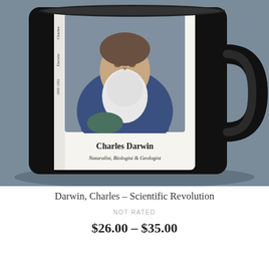[Figure (photo): A black ceramic coffee mug featuring a label with a colorized historical portrait of Charles Darwin (an elderly man with a long white beard wearing a blue coat), with the text 'Charles Darwin' and 'Naturalist, Biologist & Geologist' on the mug label. The mug has a black handle and is set against a gray-blue background.]
Darwin, Charles – Scientific Revolution
NOT RATED
$26.00 – $35.00